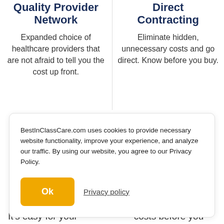Quality Provider Network
Expanded choice of healthcare providers that are not afraid to tell you the cost up front.
Direct Contracting
Eliminate hidden, unnecessary costs and go direct. Know before you buy.
BestInClassCare.com uses cookies to provide necessary website functionality, improve your experience, and analyze our traffic. By using our website, you agree to our Privacy Policy.
Ok
Privacy policy
It's easy for your
costs before you